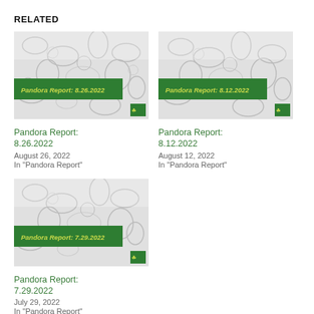RELATED
[Figure (illustration): Thumbnail image for Pandora Report 8.26.2022 showing microscopic organisms on gray background with green banner]
Pandora Report:
8.26.2022
August 26, 2022
In "Pandora Report"
[Figure (illustration): Thumbnail image for Pandora Report 8.12.2022 showing microscopic organisms on gray background with green banner]
Pandora Report:
8.12.2022
August 12, 2022
In "Pandora Report"
[Figure (illustration): Thumbnail image for Pandora Report 7.29.2022 showing microscopic organisms on gray background with green banner]
Pandora Report:
7.29.2022
July 29, 2022
In "Pandora Report"